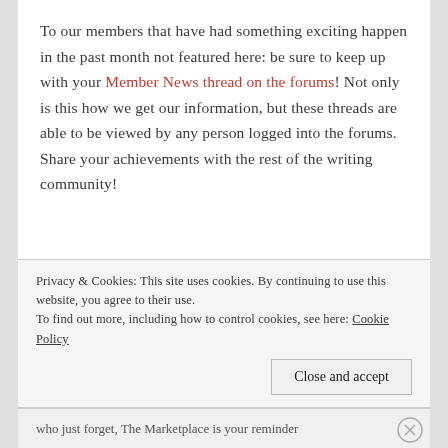To our members that have had something exciting happen in the past month not featured here: be sure to keep up with your Member News thread on the forums! Not only is this how we get our information, but these threads are able to be viewed by any person logged into the forums. Share your achievements with the rest of the writing community!
Privacy & Cookies: This site uses cookies. By continuing to use this website, you agree to their use. To find out more, including how to control cookies, see here: Cookie Policy
Close and accept
who just forget, The Marketplace is your reminder